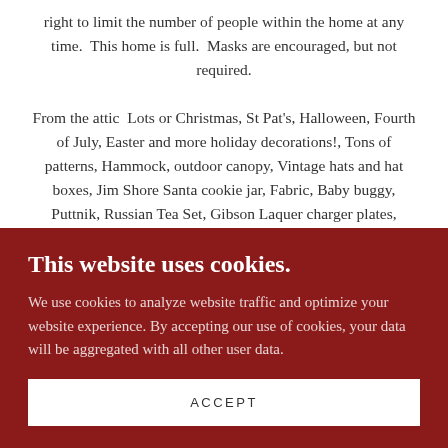right to limit the number of people within the home at any time.  This home is full.  Masks are encouraged, but not required.

From the attic  Lots or Christmas, St Pat's, Halloween, Fourth of July, Easter and more holiday decorations!, Tons of patterns, Hammock, outdoor canopy, Vintage hats and hat boxes, Jim Shore Santa cookie jar, Fabric, Baby buggy, Puttnik, Russian Tea Set, Gibson Laquer charger plates, Noritake Winona China, Free standing shelving, China protectors, Baskets, Games, Teapots, Cake stand, Lamps
This website uses cookies.
We use cookies to analyze website traffic and optimize your website experience. By accepting our use of cookies, your data will be aggregated with all other user data.
ACCEPT